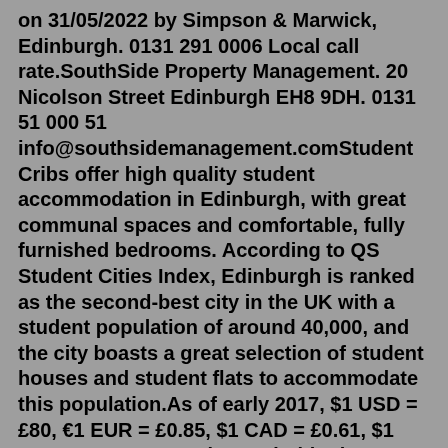on 31/05/2022 by Simpson & Marwick, Edinburgh. 0131 291 0006 Local call rate.SouthSide Property Management. 20 Nicolson Street Edinburgh EH8 9DH. 0131 51 000 51 info@southsidemanagement.comStudent Cribs offer high quality student accommodation in Edinburgh, with great communal spaces and comfortable, fully furnished bedrooms. According to QS Student Cities Index, Edinburgh is ranked as the second-best city in the UK with a student population of around 40,000, and the city boasts a great selection of student houses and student flats to accommodate this population.As of early 2017, $1 USD = £80, €1 EUR = £0.85, $1 CAD = £0.61, $1 AUD = £0.62. 1. Moving and Shipping Costs to Edinburgh. Below are some sample 2019 container shipping costs to Edinburgh from other major world cities. Just keep in mind they only reflect the shipping portion of the cost and not the full moving costs. London - £300+.It is intended to provide real time availability information relating to accommodation which is also provided by third